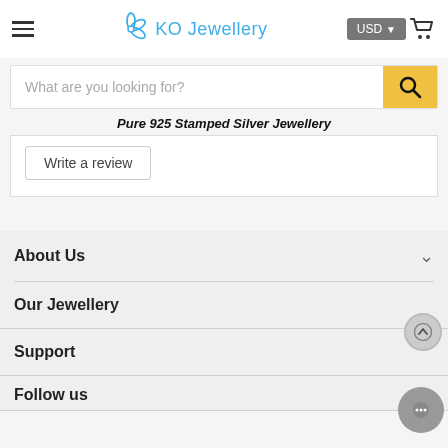KO Jewellery
What are you looking for?
Pure 925 Stamped Silver Jewellery
Write a review
About Us
Our Jewellery
Support
Follow us